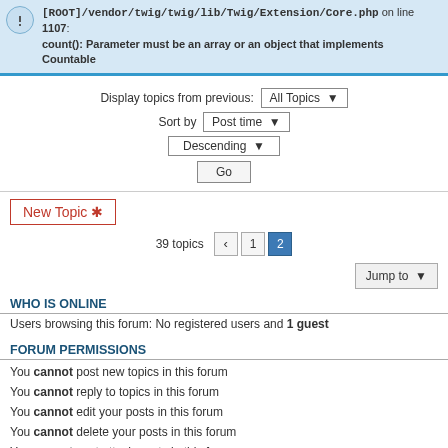[ROOT]/vendor/twig/twig/lib/Twig/Extension/Core.php on line 1107: count(): Parameter must be an array or an object that implements Countable
Display topics from previous: All Topics ▼
Sort by Post time ▼
Descending ▼
Go
New Topic ✱
39 topics  ‹  1  2
Jump to ▼
WHO IS ONLINE
Users browsing this forum: No registered users and 1 guest
FORUM PERMISSIONS
You cannot post new topics in this forum
You cannot reply to topics in this forum
You cannot edit your posts in this forum
You cannot delete your posts in this forum
You cannot post attachments in this forum
Board index   Contact us   The team   ≡
Powered by phpBB® Forum Software © phpBB Limited